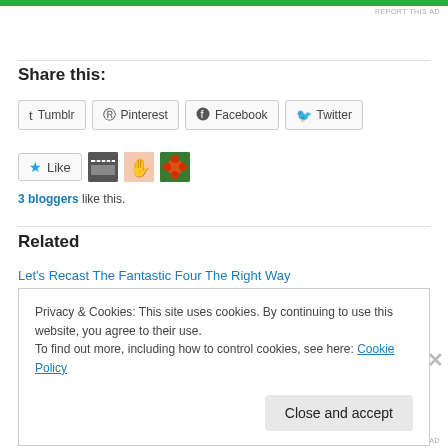[Figure (other): Green advertisement bar at top of page]
REPORT THIS AD
Share this:
Tumblr  Pinterest  Facebook  Twitter (share buttons)
[Figure (other): Like button with star icon, followed by three blogger avatar thumbnails (film clapperboard, red hand, green flower)]
3 bloggers like this.
Related
Let's Recast The Fantastic Four The Right Way
Privacy & Cookies: This site uses cookies. By continuing to use this website, you agree to their use.
To find out more, including how to control cookies, see here: Cookie Policy
Close and accept